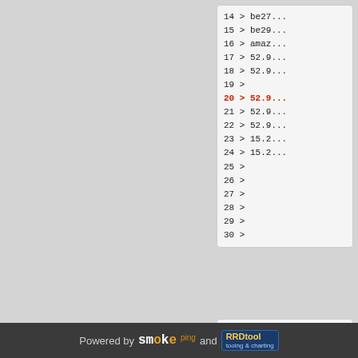14 > be27...
15 > be29...
16 > amaz...
17 > 52.9...
18 > 52.9...
19 >
20 > 52.9... (highlighted)
21 > 52.9...
22 > 52.9...
23 > 15.2...
24 > 15.2...
25 >
26 >
27 >
28 >
29 >
30 >
3 > 10.1...
4 > 10.1...
5 > 10.1...
6 > 10.1...
7 > 10.7...
8 > 10.7...
9 > fca...
Powered by smoke ping and RRDtool